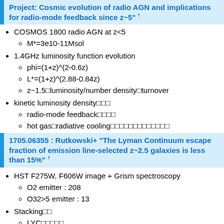Project: Cosmic evolution of radio AGN and implications for radio-mode feedback since z~5" †
COSMOS 1800 radio AGN at z<5
M*=3e10-11Msol
1.4GHz luminosity function evolution
phi=(1+z)^(2-0.6z)
L*=(1+z)^(2.88-0.84z)
z~1.5 luminosity/number density turnover
kinetic luminosity density
radio-mode feedback
hot gas radiative cooling
1705.06355 : Rutkowski+ "The Lyman Continuum escape fraction of emission line-selected z~2.5 galaxies is less than 15%" †
HST F275W, F606W image + Grism spectroscopy
O2 emitter : 208
O32>5 emitter : 13
Stacking
LYC
O2emitter : fesc<5.6%